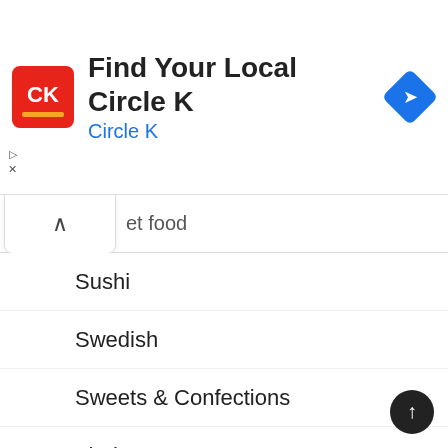[Figure (screenshot): Circle K advertisement banner with red square logo containing white 'CK' letters, the text 'Find Your Local Circle K' in bold dark text, 'Circle K' in blue below it, and a blue diamond-shaped navigation icon on the right.]
et food
Sushi
Swedish
Sweets & Confections
Thai
Thanksgiving
Travel
Turkeys